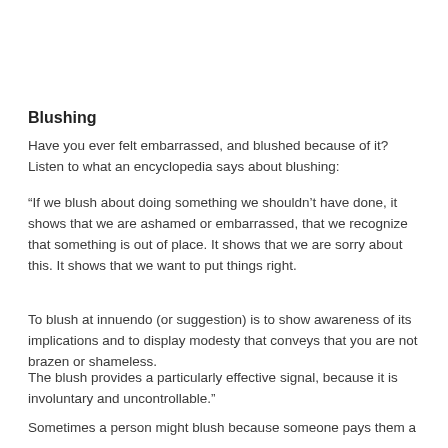Blushing
Have you ever felt embarrassed, and blushed because of it?  Listen to what an encyclopedia says about blushing:
“If we blush about doing something we shouldn’t have done, it shows that we are ashamed or embarrassed, that we recognize that something is out of place. It shows that we are sorry about this. It shows that we want to put things right.
To blush at innuendo (or suggestion) is to show awareness of its implications and to display modesty that conveys that you are not brazen or shameless.
The blush provides a particularly effective signal, because it is involuntary and uncontrollable.”
Sometimes a person might blush because someone pays them a